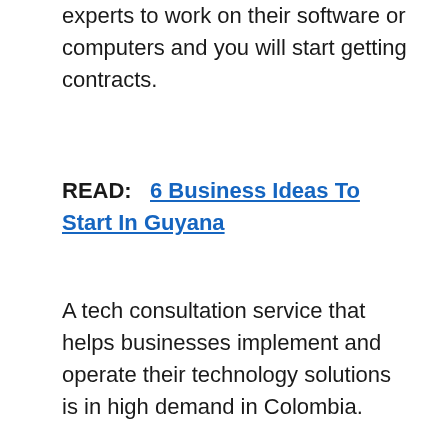experts to work on their software or computers and you will start getting contracts.
READ:   6 Business Ideas To Start In Guyana
A tech consultation service that helps businesses implement and operate their technology solutions is in high demand in Colombia.